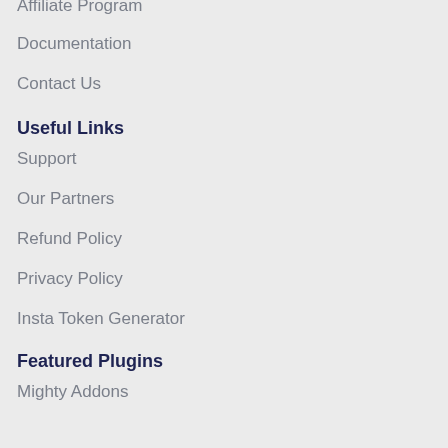Affiliate Program
Documentation
Contact Us
Useful Links
Support
Our Partners
Refund Policy
Privacy Policy
Insta Token Generator
Featured Plugins
Mighty Addons